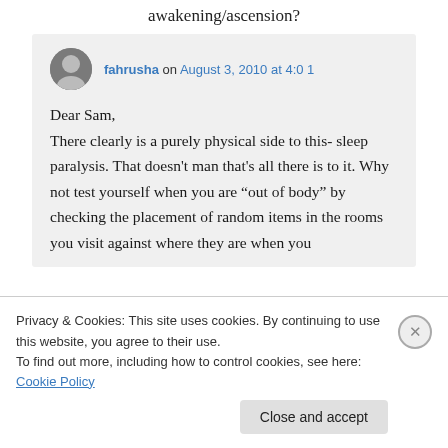awakening/ascension?
fahrusha on August 3, 2010 at 4:0 1
Dear Sam,
There clearly is a purely physical side to this- sleep paralysis. That doesn't man that's all there is to it. Why not test yourself when you are “out of body” by checking the placement of random items in the rooms you visit against where they are when you
Privacy & Cookies: This site uses cookies. By continuing to use this website, you agree to their use.
To find out more, including how to control cookies, see here: Cookie Policy
Close and accept